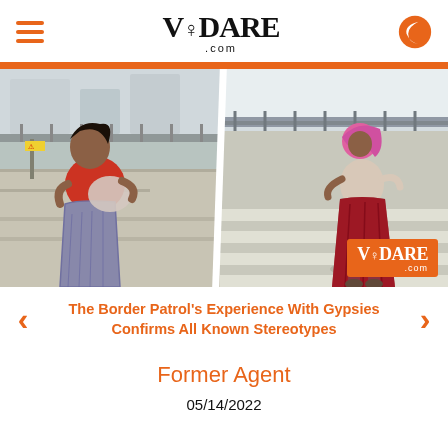VDARE .com
[Figure (photo): Two women in traditional clothing walking outdoors near a transit area. Left image shows a heavier woman in a red top and patterned skirt carrying a bundle. Right image shows a woman in a pink head covering and red skirt walking across a crosswalk. VDARE.com watermark in bottom right corner.]
The Border Patrol's Experience With Gypsies Confirms All Known Stereotypes
Former Agent
05/14/2022